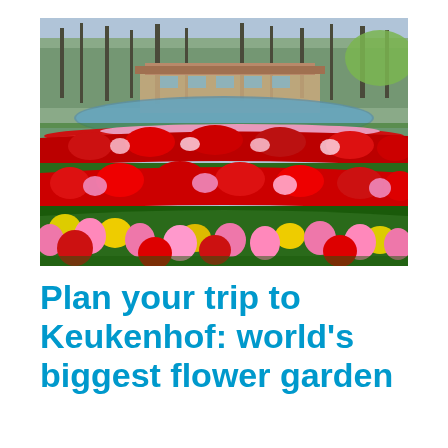[Figure (photo): Aerial view of Keukenhof garden showing colorful rows of red, pink, yellow, and white tulips curving across the foreground, with a pond, building, and trees visible in the background.]
Plan your trip to Keukenhof: world's biggest flower garden